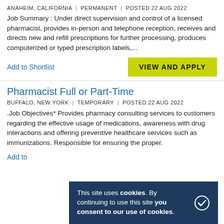ANAHEIM, CALIFORNIA | PERMANENT | POSTED 22 AUG 2022
Job Summary : Under direct supervision and control of a licensed pharmacist, provides in-person and telephone reception, receives and directs new and refill prescriptions for further processing, produces computerized or typed prescription labels,...
Add to Shortlist
VIEW AND APPLY
Pharmacist Full or Part-Time
BUFFALO, NEW YORK | TEMPORARY | POSTED 22 AUG 2022
.Job Objectives* Provides pharmacy consulting services to customers regarding the effective usage of medications, awareness with drug interactions and offering preventive healthcare services such as immunizations. Responsible for ensuring the proper.
Add to
This site uses cookies. By continuing to use this site you consent to our use of cookies.